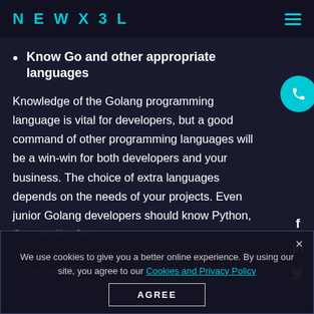NEWX3L
Know Go and other appropriate languages
Knowledge of the Golang programming language is vital for developers, but a good command of other programming languages will be a win-win for both developers and your business. The choice of extra languages depends on the needs of your projects. Even junior Golang developers should know Python,
C++, and/or Java.
We use cookies to give you a better online experience. By using our site, you agree to our Cookies and Privacy Policy
Have a massive list of libraries, tools, and frameworks